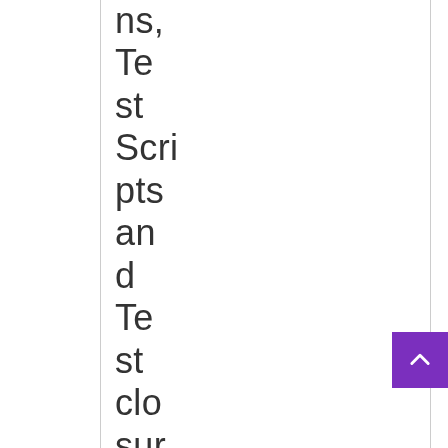ns, Test Scripts and Test closure summaries)